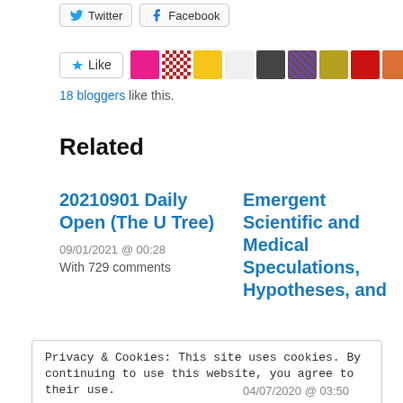[Figure (screenshot): Twitter and Facebook social sharing buttons]
[Figure (screenshot): Like button with star icon and 10 blogger avatar thumbnails]
18 bloggers like this.
Related
20210901 Daily Open (The U Tree)
09/01/2021 @ 00:28
With 729 comments
Emergent Scientific and Medical Speculations, Hypotheses, and
Privacy & Cookies: This site uses cookies. By continuing to use this website, you agree to their use.
To find out more, including how to control cookies, see here: Cookie Policy
04/07/2020 @ 03:50